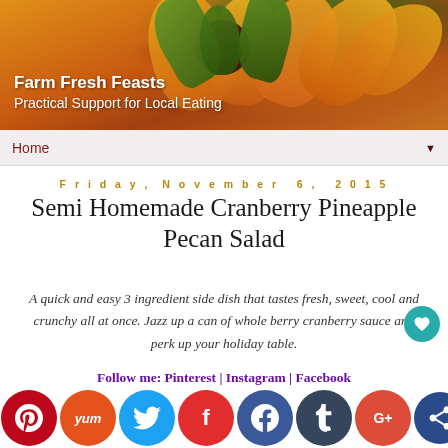[Figure (photo): Close-up of sunflower petals and leaves in orange, yellow, and green tones. Blog header image.]
Farm Fresh Feasts
Practical Support for Local Eating
Home
Friday, November 6, 2015
Semi Homemade Cranberry Pineapple Pecan Salad
A quick and easy 3 ingredient side dish that tastes fresh, sweet, cool and crunchy all at once. Jazz up a can of whole berry cranberry sauce and perk up your holiday table.
Follow me: Pinterest | Instagram | Facebook
[Figure (infographic): Row of social media share buttons: Pinterest, Yummly, Twitter, Flipboard, Facebook, Tumblr, Google+, Share]